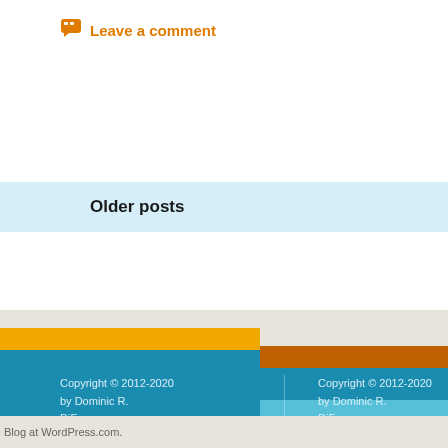Leave a comment
Older posts
Copyright © 2012-2020 by Dominic R. DiFrancesco
Copyright © 2012-2020 by Dominic R. DiFrancesco
Blog at WordPress.com.